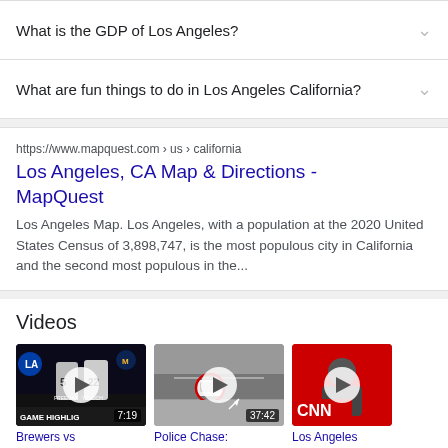What is the GDP of Los Angeles?
What are fun things to do in Los Angeles California?
https://www.mapquest.com › us › california
Los Angeles, CA Map & Directions - MapQuest
Los Angeles Map. Los Angeles, with a population at the 2020 United States Census of 3,898,747, is the most populous city in California and the second most populous in the...
Videos
[Figure (screenshot): Video thumbnail: Brewers vs (baseball game highlight with players Freeman #5 and Yellich #22), duration 7:19]
[Figure (screenshot): Video thumbnail: Police Chase aerial view of white car, duration 37:42]
[Figure (screenshot): Video thumbnail: CNN Los Angeles segment]
Brewers vs
Police Chase:
Los Angeles